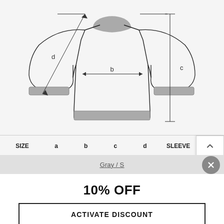[Figure (schematic): Technical flat sketch of a crewneck sweatshirt with measurement annotations: 'a' diagonal sleeve length, 'b' chest width with arrows, 'c' vertical body length on right, 'd' diagonal on left side. Bottom has ribbed hem and cuffs in gray.]
| SIZE | a | b | c | d | SLEEVE |
| --- | --- | --- | --- | --- | --- |
Gray / S
10% OFF
ACTIVATE DISCOUNT